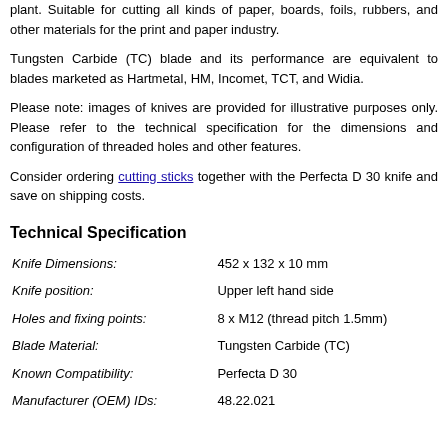plant. Suitable for cutting all kinds of paper, boards, foils, rubbers, and other materials for the print and paper industry.
Tungsten Carbide (TC) blade and its performance are equivalent to blades marketed as Hartmetal, HM, Incomet, TCT, and Widia.
Please note: images of knives are provided for illustrative purposes only. Please refer to the technical specification for the dimensions and configuration of threaded holes and other features.
Consider ordering cutting sticks together with the Perfecta D 30 knife and save on shipping costs.
Technical Specification
| Property | Value |
| --- | --- |
| Knife Dimensions: | 452 x 132 x 10 mm |
| Knife position: | Upper left hand side |
| Holes and fixing points: | 8 x M12 (thread pitch 1.5mm) |
| Blade Material: | Tungsten Carbide (TC) |
| Known Compatibility: | Perfecta D 30 |
| Manufacturer (OEM) IDs: | 48.22.021 |